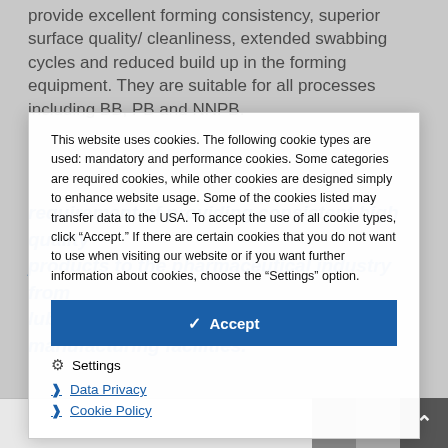provide excellent forming consistency, superior surface quality/ cleanliness, extended swabbing cycles and reduced build up in the forming equipment. They are suitable for all processes including BB, PB and NNPB.
This website uses cookies. The following cookie types are used: mandatory and performance cookies. Some categories are required cookies, while other cookies are designed simply to enhance website usage. Some of the cookies listed may transfer data to the USA. To accept the use of all cookie types, click "Accept." If there are certain cookies that you do not want to use when visiting our website or if you want further information about cookies, choose the "Settings" option.
Accept
Settings
Data Privacy
Cookie Policy
requirement of providing consistent high quality products to the pharmaceutical industry from lubricants via our ISO 21469 approved manufacturing facilities.